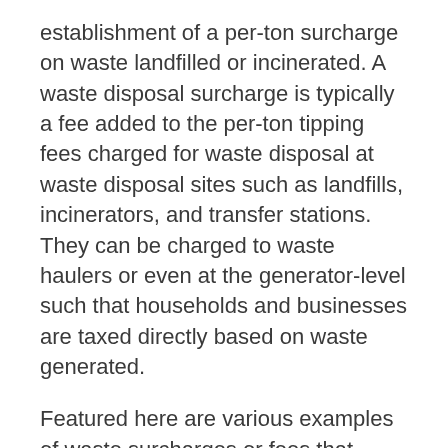establishment of a per-ton surcharge on waste landfilled or incinerated. A waste disposal surcharge is typically a fee added to the per-ton tipping fees charged for waste disposal at waste disposal sites such as landfills, incinerators, and transfer stations. They can be charged to waste haulers or even at the generator-level such that households and businesses are taxed directly based on waste generated.
Featured here are various examples of waste surcharges or fees that allocate generated revenue to fund recycling, composting, and waste diversion efforts. Some also support other environmental programs (such as Pennsylvania's grant program). While most of these waste surcharges are implemented at the state level, there are a few notable local examples too.